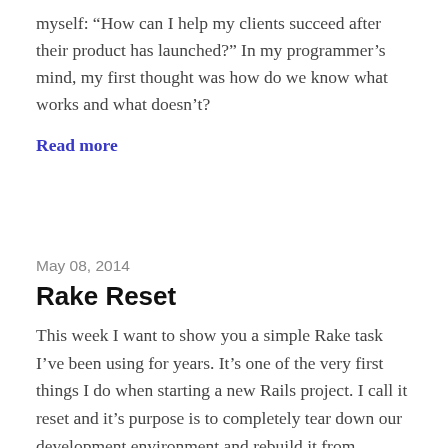myself: “How can I help my clients succeed after their product has launched?” In my programmer’s mind, my first thought was how do we know what works and what doesn’t?
Read more
May 08, 2014
Rake Reset
This week I want to show you a simple Rake task I’ve been using for years. It’s one of the very first things I do when starting a new Rails project. I call it reset and it’s purpose is to completely tear down our development environment and rebuild it from scratch. Here is what it looks like: